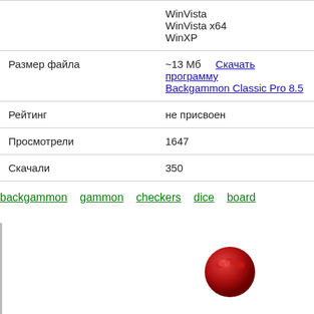|  | WinVista
WinVista x64
WinXP |
| Размер файла | ~13 Мб   Скачать программу Backgammon Classic Pro 8.5 |
| Рейтинг | не присвоен |
| Просмотрели | 1647 |
| Скачали | 350 |
backgammon  gammon  checkers  dice  board
[Figure (photo): Partial screenshot/image area with a red circular icon at the bottom, resembling a game piece or button for Backgammon Classic Pro.]